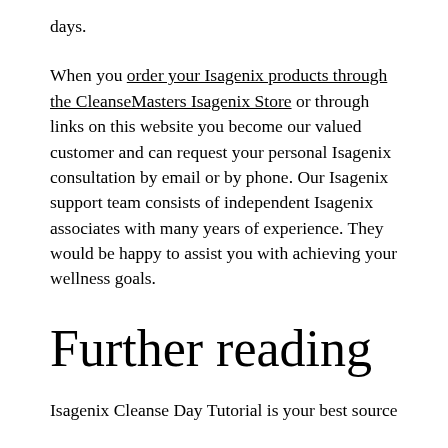days.
When you order your Isagenix products through the CleanseMasters Isagenix Store or through links on this website you become our valued customer and can request your personal Isagenix consultation by email or by phone. Our Isagenix support team consists of independent Isagenix associates with many years of experience. They would be happy to assist you with achieving your wellness goals.
Further reading
Isagenix Cleanse Day Tutorial is your best source